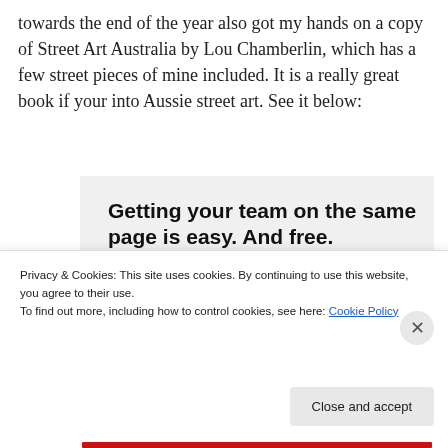towards the end of the year also got my hands on a copy of Street Art Australia by Lou Chamberlin, which has a few street pieces of mine included. It is a really great book if your into Aussie street art. See it below:
[Figure (screenshot): Advertisement screenshot showing text 'Getting your team on the same page is easy. And free.' with circular user avatar photos at the bottom]
Privacy & Cookies: This site uses cookies. By continuing to use this website, you agree to their use.
To find out more, including how to control cookies, see here: Cookie Policy
Close and accept